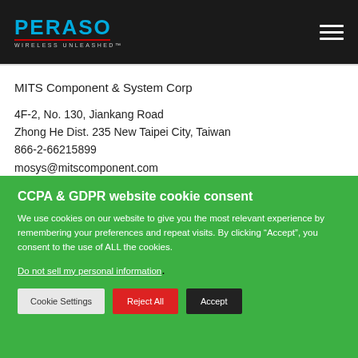PERASO WIRELESS UNLEASHED
MITS Component & System Corp
4F-2, No. 130, Jiankang Road
Zhong He Dist. 235 New Taipei City, Taiwan
866-2-66215899
mosys@mitscomponent.com
CCPA & GDPR website cookie consent
We use cookies on our website to give you the most relevant experience by remembering your preferences and repeat visits. By clicking “Accept”, you consent to the use of ALL the cookies.
Do not sell my personal information.